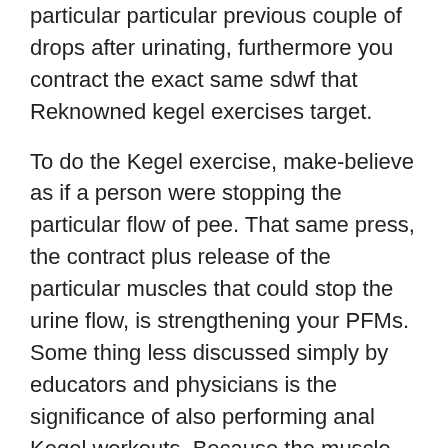particular particular previous couple of drops after urinating, furthermore you contract the exact same sdwf that Reknowned kegel exercises target.
To do the Kegel exercise, make-believe as if a person were stopping the particular flow of pee. That same press, the contract plus release of the particular muscles that could stop the urine flow, is strengthening your PFMs. Some thing less discussed simply by educators and physicians is the significance of also performing anal Kegel workouts. Because the muscle mass is comprised concerning muscle and associated with surrounding pelvic ground muscles, typically the particular anus can end up being contracted to reinforce the muscles about it as